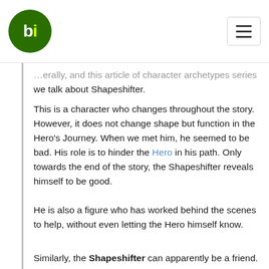bi — [logo and hamburger menu]
…erally, and this article of character archetypes series we talk about Shapeshifter.
This is a character who changes throughout the story. However, it does not change shape but function in the Hero's Journey. When we met him, he seemed to be bad. His role is to hinder the Hero in his path. Only towards the end of the story, the Shapeshifter reveals himself to be good.
He is also a figure who has worked behind the scenes to help, without even letting the Hero himself know.
Similarly, the Shapeshifter can apparently be a friend. In the end, he turns out to be an enemy, or someone